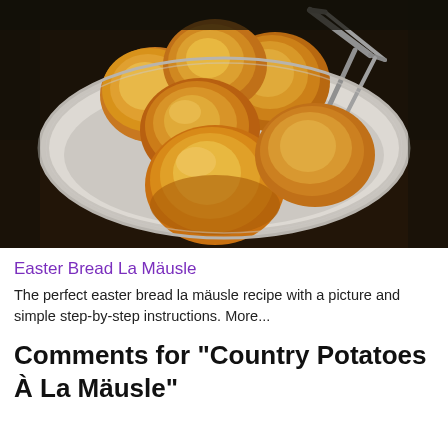[Figure (photo): Golden bread rolls in an oval white cloth-lined basket on a dark wooden table, with metal tongs resting on top]
Easter Bread La Mäusle
The perfect easter bread la mäusle recipe with a picture and simple step-by-step instructions. More...
Comments for "Country Potatoes À La Mäusle"